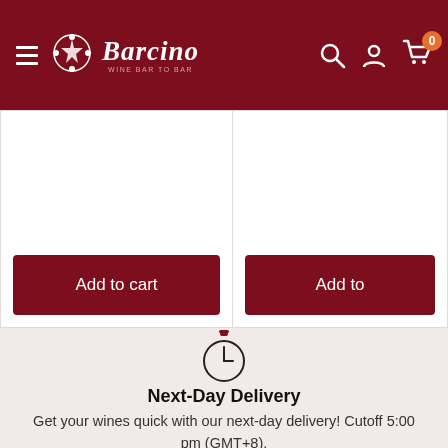[Figure (screenshot): Barcino Wine to Bar navigation header with dark red background, hamburger menu, logo, search icon, user icon, and cart icon with 0 badge]
[Figure (screenshot): Two product cards each with an 'Add to cart' button in dark red, on white background. Right card is partially cropped.]
[Figure (illustration): Clock/stopwatch icon representing Next-Day Delivery]
Next-Day Delivery
Get your wines quick with our next-day delivery! Cutoff 5:00 pm (GMT+8).
[Figure (illustration): Store/shop icon representing Wide Selection]
Wide Selection
We curated a selection of of over 350 bottles to suit every preference